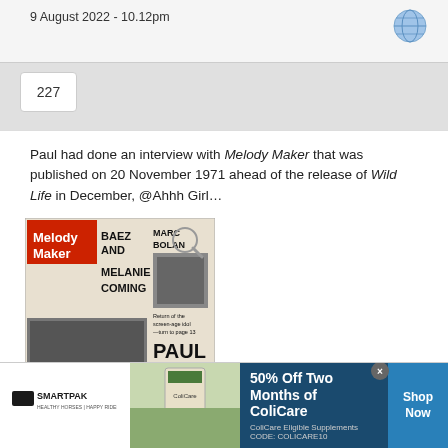9 August 2022 - 10.12pm
227
Paul had done an interview with Melody Maker that was published on 20 November 1971 ahead of the release of Wild Life in December, @Ahhh Girl…
[Figure (photo): Melody Maker newspaper front page showing headlines: BAEZ AND MELANIE COMING, MARC BOLAN, PAUL, with black and white photos]
SmartPak — 50% Off Two Months of ColiCare. ColiCare Eligible Supplements CODE: COLICARE10. Shop Now